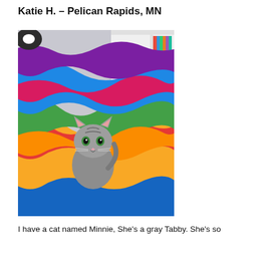Katie H. – Pelican Rapids, MN
[Figure (photo): A gray tabby kitten peeking out from a colorful rainbow tie-dye fleece blanket. In the background there is a white bookshelf with dolls and DVDs/books.]
I have a cat named Minnie, She's a gray Tabby. She's so